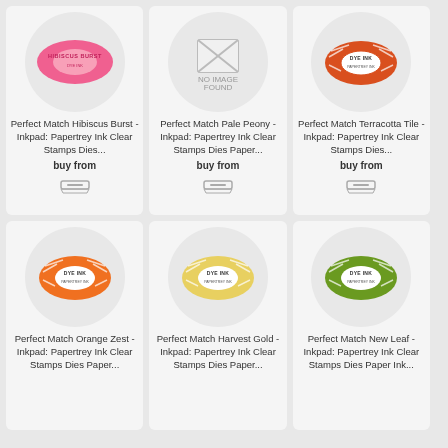[Figure (photo): Hibiscus Burst dye ink pad product image - pink oval ink pad]
Perfect Match Hibiscus Burst - Inkpad: Papertrey Ink Clear Stamps Dies...
buy from
[Figure (logo): Retailer logo icon]
[Figure (photo): No image found placeholder]
Perfect Match Pale Peony - Inkpad: Papertrey Ink Clear Stamps Dies Paper...
buy from
[Figure (logo): Retailer logo icon]
[Figure (photo): Terracotta Tile dye ink pad - orange/red oval ink pad]
Perfect Match Terracotta Tile - Inkpad: Papertrey Ink Clear Stamps Dies...
buy from
[Figure (logo): Retailer logo icon]
[Figure (photo): Orange Zest dye ink pad - orange oval ink pad]
Perfect Match Orange Zest - Inkpad: Papertrey Ink Clear Stamps Dies Paper...
[Figure (photo): Harvest Gold dye ink pad - yellow oval ink pad]
Perfect Match Harvest Gold - Inkpad: Papertrey Ink Clear Stamps Dies Paper...
[Figure (photo): New Leaf dye ink pad - green oval ink pad]
Perfect Match New Leaf - Inkpad: Papertrey Ink Clear Stamps Dies Paper Ink...